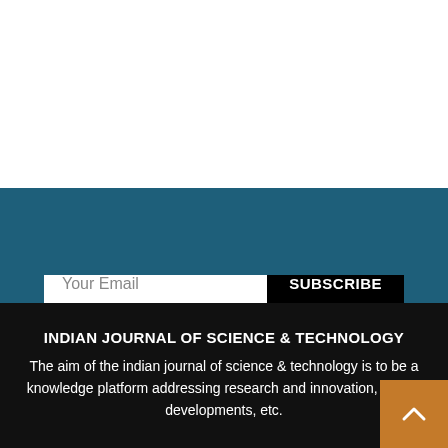[Figure (screenshot): White empty section at the top of the page]
[Figure (screenshot): Blue background section with email subscription bar containing 'Your Email' input field and 'SUBSCRIBE' button]
INDIAN JOURNAL OF SCIENCE & TECHNOLOGY
The aim of the indian journal of science & technology is to be a knowledge platform addressing research and innovation, critical developments, etc.